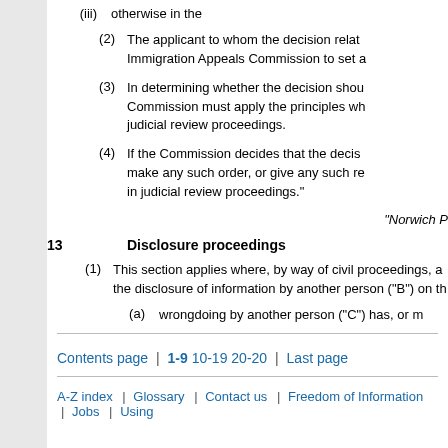(iii)   otherwise in the
(2)   The applicant to whom the decision relat Immigration Appeals Commission to set a
(3)   In determining whether the decision shou Commission must apply the principles wh judicial review proceedings.
(4)   If the Commission decides that the decis make any such order, or give any such re in judicial review proceedings."
"Norwich P
13   Disclosure proceedings
(1)   This section applies where, by way of civil proceedings, a the disclosure of information by another person (“B”) on th
(a)   wrongdoing by another person (“C”) has, or m
Contents page | 1-9 10-19 20-20 | Last page
A-Z index | Glossary | Contact us | Freedom of Information | Jobs | Using